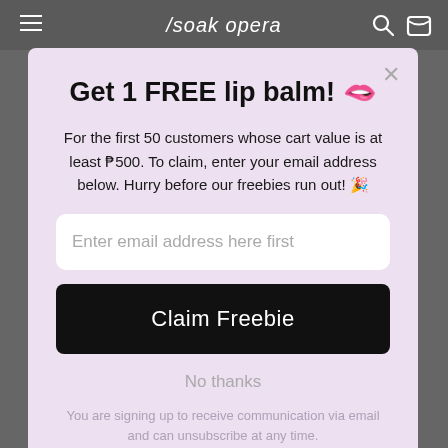/soak opera
Get 1 FREE lip balm! 🫦
For the first 50 customers whose cart value is at least ₱500. To claim, enter your email address below. Hurry before our freebies run out! 🎉
Enter email address here first
Claim Freebie
No thanks
You are signing up to receive communication via email and can unsubscribe at any time.